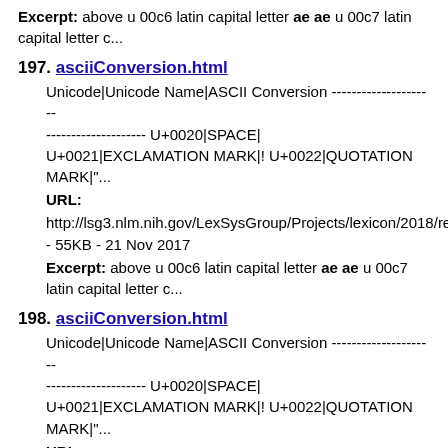Excerpt: above u 00c6 latin capital letter ae ae u 00c7 latin capital letter c...
197. asciiConversion.html
Unicode|Unicode Name|ASCII Conversion ----------------------------------------- U+0020|SPACE|
U+0021|EXCLAMATION MARK|! U+0022|QUOTATION MARK|"...
URL: http://lsg3.nlm.nih.gov/LexSysGroup/Projects/lexicon/2018/re
- 55KB - 21 Nov 2017
Excerpt: above u 00c6 latin capital letter ae ae u 00c7 latin capital letter c...
198. asciiConversion.html
Unicode|Unicode Name|ASCII Conversion ----------------------------------------- U+0020|SPACE|
U+0021|EXCLAMATION MARK|! U+0022|QUOTATION MARK|"...
URL: http://lsg3.nlm.nih.gov/LexSysGroup/Projects/lexicon/2016/re
- 55KB - 23 Sep 2015
Excerpt: above u 00c6 latin capital letter ae ae u 00c7 latin capital letter c...